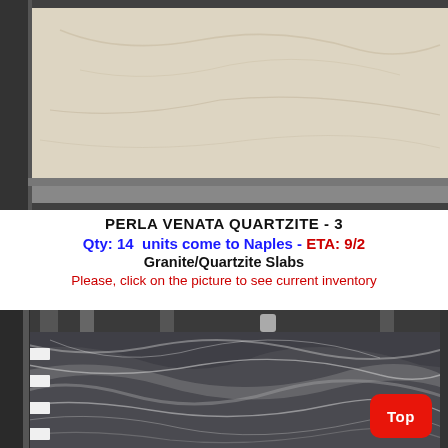[Figure (photo): Top photo showing a light beige/cream quartzite slab with subtle veining, displayed on a rack with metal supports. The slab has a smooth polished surface.]
PERLA VENATA QUARTZITE - 3
Qty: 14  units come to Naples - ETA: 9/2
Granite/Quartzite Slabs
Please, click on the picture to see current inventory
[Figure (photo): Bottom photo showing dark gray/charcoal quartzite slabs with dramatic white and silver swirling veining patterns, displayed on a rack with metal supports and white label tags on the left side.]